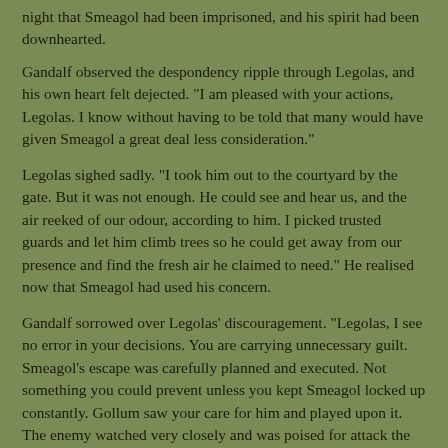night that Smeagol had been imprisoned, and his spirit had been downhearted.
Gandalf observed the despondency ripple through Legolas, and his own heart felt dejected. "I am pleased with your actions, Legolas. I know without having to be told that many would have given Smeagol a great deal less consideration."
Legolas sighed sadly. "I took him out to the courtyard by the gate. But it was not enough. He could see and hear us, and the air reeked of our odour, according to him. I picked trusted guards and let him climb trees so he could get away from our presence and find the fresh air he claimed to need." He realised now that Smeagol had used his concern.
Gandalf sorrowed over Legolas' discouragement. "Legolas, I see no error in your decisions. You are carrying unnecessary guilt. Smeagol's escape was carefully planned and executed. Not something you could prevent unless you kept Smeagol locked up constantly. Gollum saw your care for him and played upon it. The enemy watched very closely and was poised for attack the second the opportunity arrived. You cannot control the intrigues of Sauron or his servants."
Legolas considered the words. His mistake had been in being too kind, but at the time he had feared for Smeagol. Mithrandir had said that the individual had done evil but might still be redeemed from it. Yet how Smeagol could recover any goodness anguishing in some dungeon, Legolas did not know. He wished he had ignored Smeagol more, but his heart had insisted on feeling mercy.